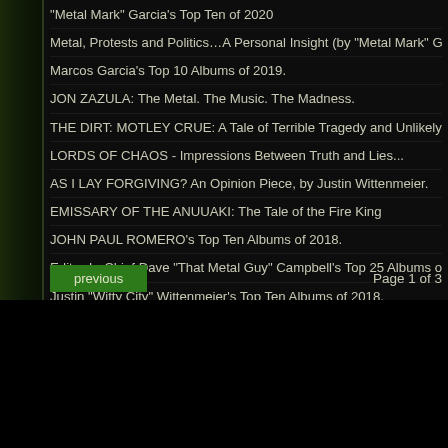"Metal Mark" Garcia's Top Ten of 2020
Metal, Protests and Politics…A Personal Insight (by "Metal Mark" Garcia).
Marcos Garcia's Top 10 Albums of 2019.
JON ZAZULA: The Metal. The Music. The Madness.
THE DIRT: MOTLEY CRUE: A Tale of Terrible Tragedy and Unlikely Triump
LORDS OF CHAOS - Impressions Between Truth and Lies...
AS I LAY FORGIVING? An Opinion Piece, by Justin Wittenmeier.
EMISSARY OF THE ANUUAKI: The Tale of the Fire King
JOHN PAUL ROMERO's Top Ten Albums of 2018.
Editor-In-Chief Dave "That Metal Guy" Campbell's Top 25 Albums of 2018
Justin "Witty City" Wittenmeier's Top Ten Albums of 2018.
previous   Page 1 of 3